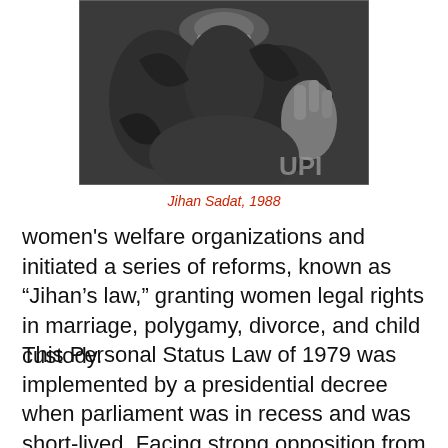[Figure (photo): Black and white photograph of Jihan Sadat, 1988, showing a woman in a patterned outfit with a necklace, raising her hand. UPI watermark visible in bottom right corner.]
Jihan Sadat, 1988
women's welfare organizations and initiated a series of reforms, known as “Jihan’s law,” granting women legal rights in marriage, polygamy, divorce, and child custody.
This Personal Status Law of 1979 was implemented by a presidential decree when parliament was in recess and was short-lived. Facing strong opposition from the Islamists—who condemned it as Western-oriented and